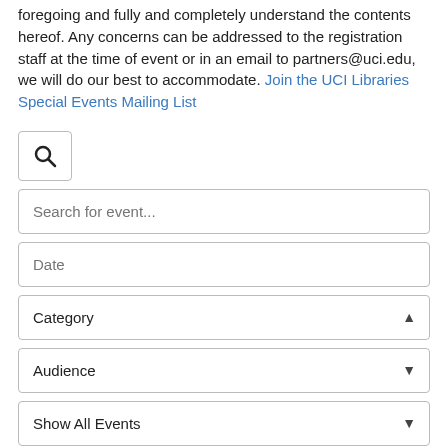foregoing and fully and completely understand the contents hereof. Any concerns can be addressed to the registration staff at the time of event or in an email to partners@uci.edu, we will do our best to accommodate. Join the UCI Libraries Special Events Mailing List
[Figure (screenshot): Search icon button (magnifying glass) in a bordered box]
Search for event...
Date
Category (dropdown with up arrow)
Audience (dropdown with down arrow)
Show All Events (dropdown with down arrow)
Search   Clear All
Filters applied: Calendar: UCI Libraries Events;   Audience: Graduate Students;   Include Events: Show All Events